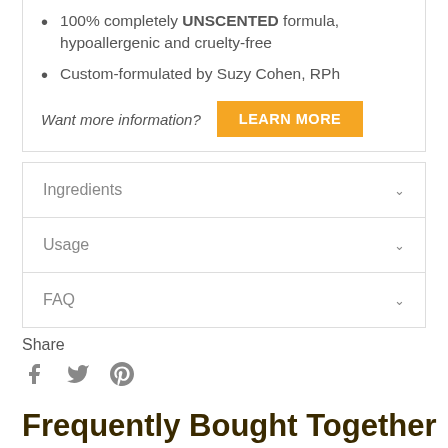100% completely UNSCENTED formula, hypoallergenic and cruelty-free
Custom-formulated by Suzy Cohen, RPh
Want more information? LEARN MORE
Ingredients
Usage
FAQ
Share
[Figure (infographic): Social share icons: Facebook (f), Twitter (bird), Pinterest (P)]
Frequently Bought Together